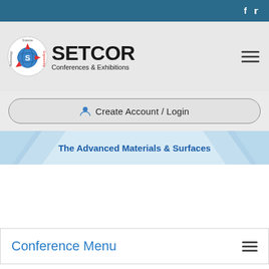f  t (social icons top bar)
[Figure (logo): SETCOR Conferences & Exhibitions logo with circular badge containing Science, Engineering, Technology, Abiology text and arrows]
SETCOR
Conferences & Exhibitions
Create Account / Login
The Advanced Materials & Surfaces International Conference
Conference Menu